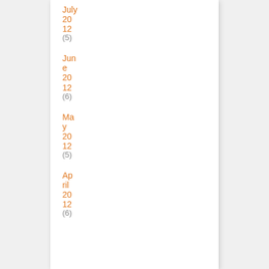July 2012 (5)
June 2012 (6)
May 2012 (5)
April 2012 (6)